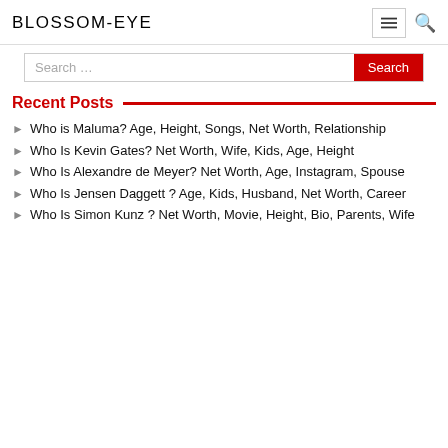BLOSSOM-EYE
Recent Posts
Who is Maluma? Age, Height, Songs, Net Worth, Relationship
Who Is Kevin Gates? Net Worth, Wife, Kids, Age, Height
Who Is Alexandre de Meyer? Net Worth, Age, Instagram, Spouse
Who Is Jensen Daggett ? Age, Kids, Husband, Net Worth, Career
Who Is Simon Kunz ? Net Worth, Movie, Height, Bio, Parents, Wife